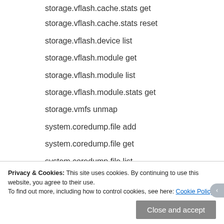storage.vflash.cache.stats get
storage.vflash.cache.stats reset
storage.vflash.device list
storage.vflash.module get
storage.vflash.module list
storage.vflash.module.stats get
storage.vmfs unmap
system.coredump.file add
system.coredump.file get
system.coredump.file list
system.coredump.file remove
Privacy & Cookies: This site uses cookies. By continuing to use this website, you agree to their use.
To find out more, including how to control cookies, see here: Cookie Policy